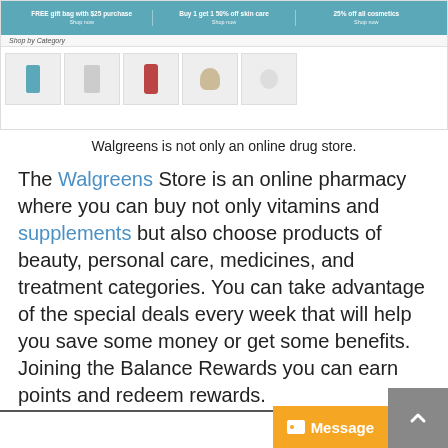[Figure (screenshot): Screenshot of Walgreens website showing a teal promotional banner with three deals, a 'Shop by Category' row, and product thumbnail images.]
Walgreens is not only an online drug store.
The Walgreens Store is an online pharmacy where you can buy not only vitamins and supplements but also choose products of beauty, personal care, medicines, and treatment categories. You can take advantage of the special deals every week that will help you save some money or get some benefits. Joining the Balance Rewards you can earn points and redeem rewards.